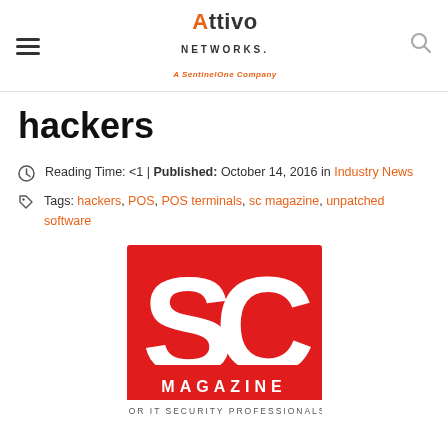Attivo Networks. A SentinelOne Company
hackers
Reading Time: <1 | Published: October 14, 2016 in Industry News
Tags: hackers, POS, POS terminals, sc magazine, unpatched software
[Figure (logo): SC Magazine - For IT Security Professionals logo. Red square background with large white 'SC' letters and 'MAGAZINE' text below, with tagline 'FOR IT SECURITY PROFESSIONALS'.]